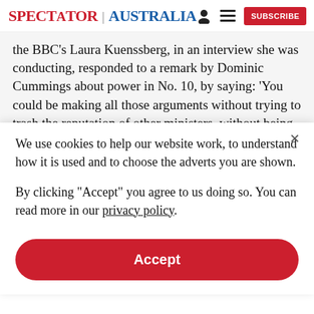SPECTATOR | AUSTRALIA
the BBC’s Laura Kuenssberg, in an interview she was conducting, responded to a remark by Dominic Cummings about power in No. 10, by saying: ‘You could be making all those arguments without trying to trash the reputation of other ministers, without being so
We use cookies to help our website work, to understand how it is used and to choose the adverts you are shown.
By clicking "Accept" you agree to us doing so. You can read more in our privacy policy.
Accept